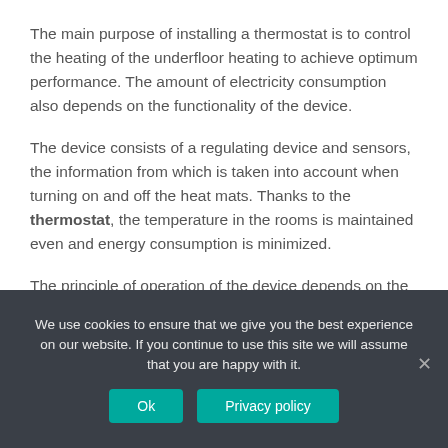The main purpose of installing a thermostat is to control the heating of the underfloor heating to achieve optimum performance. The amount of electricity consumption also depends on the functionality of the device.
The device consists of a regulating device and sensors, the information from which is taken into account when turning on and off the heat mats. Thanks to the thermostat, the temperature in the rooms is maintained even and energy consumption is minimized.
The principle of operation of the device depends on the system of underfloor heating:
We use cookies to ensure that we give you the best experience on our website. If you continue to use this site we will assume that you are happy with it.